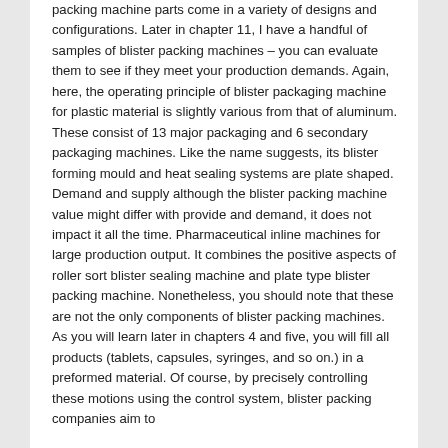packing machine parts come in a variety of designs and configurations. Later in chapter 11, I have a handful of samples of blister packing machines – you can evaluate them to see if they meet your production demands. Again, here, the operating principle of blister packaging machine for plastic material is slightly various from that of aluminum. These consist of 13 major packaging and 6 secondary packaging machines. Like the name suggests, its blister forming mould and heat sealing systems are plate shaped. Demand and supply although the blister packing machine value might differ with provide and demand, it does not impact it all the time. Pharmaceutical inline machines for large production output. It combines the positive aspects of roller sort blister sealing machine and plate type blister packing machine. Nonetheless, you should note that these are not the only components of blister packing machines. As you will learn later in chapters 4 and five, you will fill all products (tablets, capsules, syringes, and so on.) in a preformed material. Of course, by precisely controlling these motions using the control system, blister packing companies aim to